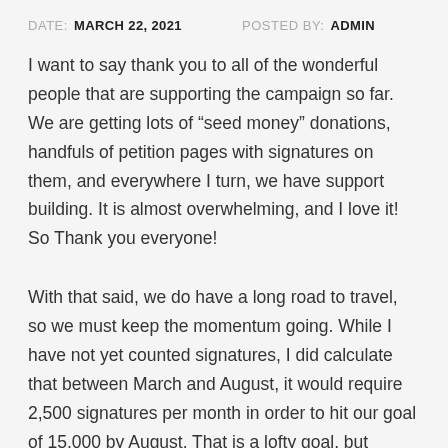DATE: MARCH 22, 2021   POSTED BY: ADMIN
I want to say thank you to all of the wonderful people that are supporting the campaign so far. We are getting lots of “seed money” donations, handfuls of petition pages with signatures on them, and everywhere I turn, we have support building. It is almost overwhelming, and I love it! So Thank you everyone!
With that said, we do have a long road to travel, so we must keep the momentum going. While I have not yet counted signatures, I did calculate that between March and August, it would require 2,500 signatures per month in order to hit our goal of 15,000 by August. That is a lofty goal, but definitely